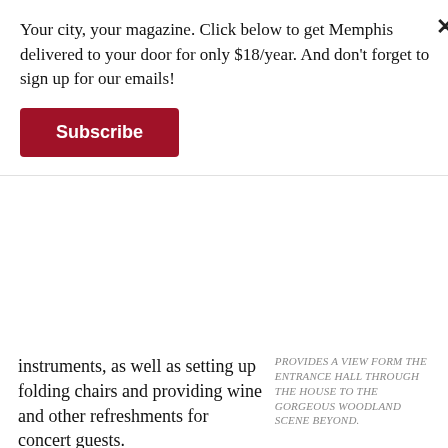Your city, your magazine. Click below to get Memphis delivered to your door for only $18/year. And don't forget to sign up for our emails!
Subscribe
instruments, as well as setting up folding chairs and providing wine and other refreshments for concert guests.
PROVIDES A VIEW FORM THE ENTRANCE HALL THROUGH THE HOUSE TO THE GORGEOUS WOODLAND SCENE BEYOND.
Evans has played the piano since she was a child, modestly suggesting she may have inherited some abilities from her maternal grandmother, Elizabeth Marshall, who could play the harmonica, guitar, piano, and violin. In her own long musical career, Evans was a pianist with the Memphis Symphony Orchestra for